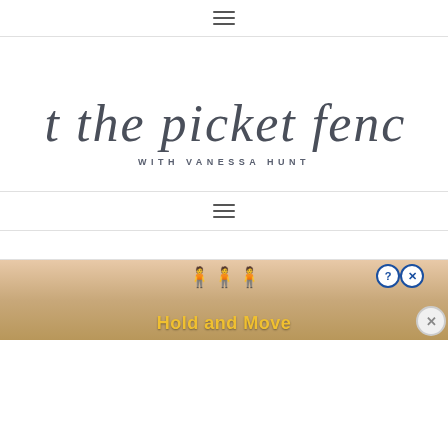☰ (hamburger menu icon)
at the picket fence
WITH VANESSA HUNT
☰ (hamburger menu icon)
[Figure (screenshot): Advertisement banner showing 'Hold and Move' game ad with cartoon figures and close/help buttons]